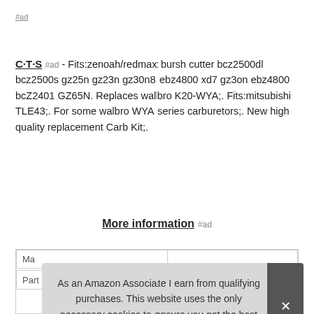#ad
C·T·S #ad - Fits:zenoah/redmax bursh cutter bcz2500dl bcz2500s gz25n gz23n gz30n8 ebz4800 xd7 gz3on ebz4800 bcZ2401 GZ65N. Replaces walbro K20-WYA;. Fits:mitsubishi TLE43;. For some walbro WYA series carburetors;. New high quality replacement Carb Kit;.
More information #ad
| Ma |  |
| Part Number | K20-WYA |
As an Amazon Associate I earn from qualifying purchases. This website uses the only necessary cookies to ensure you get the best experience on our website. More information